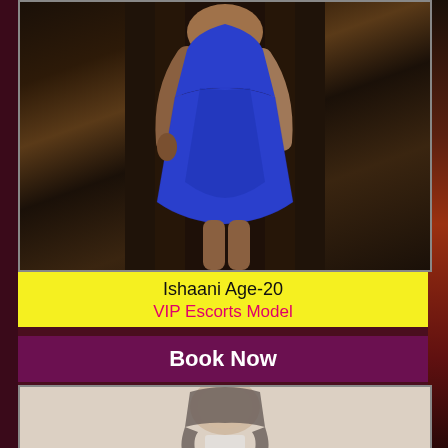[Figure (photo): Woman in blue dress, body shot from torso to knees]
Ishaani Age-20
VIP Escorts Model
Book Now
[Figure (photo): Woman with long dark hair, blurred face, partial view]